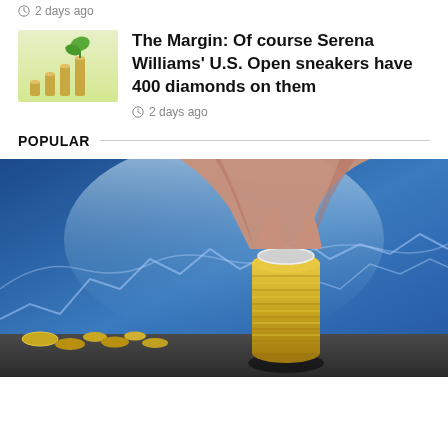2 days ago
[Figure (photo): Stack of coins with plant growing, financial growth concept thumbnail]
The Margin: Of course Serena Williams' U.S. Open sneakers have 400 diamonds on them
2 days ago
POPULAR
[Figure (photo): Hands placing a coin on a tall stack of coins with financial chart overlay on blue background]